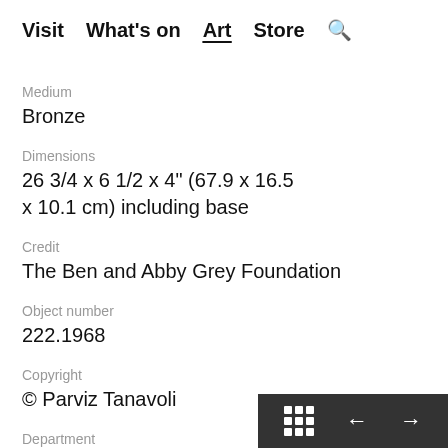Visit  What's on  Art  Store  🔍
Medium
Bronze
Dimensions
26 3/4 x 6 1/2 x 4" (67.9 x 16.5 x 10.1 cm) including base
Credit
The Ben and Abby Grey Foundation
Object number
222.1968
Copyright
© Parviz Tanavoli
Department
Painting and Sculpture